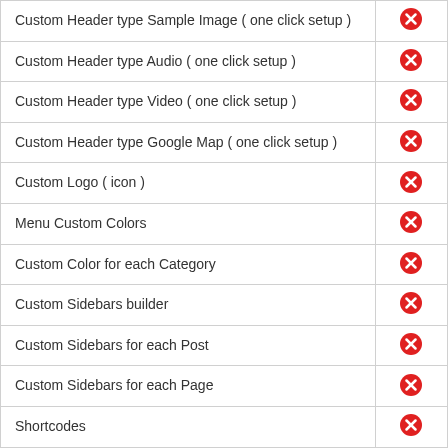| Feature | Status |
| --- | --- |
| Custom Header type Sample Image ( one click setup ) | ✗ |
| Custom Header type Audio ( one click setup ) | ✗ |
| Custom Header type Video ( one click setup ) | ✗ |
| Custom Header type Google Map ( one click setup ) | ✗ |
| Custom Logo ( icon ) | ✗ |
| Menu Custom Colors | ✗ |
| Custom Color for each Category | ✗ |
| Custom Sidebars builder | ✗ |
| Custom Sidebars for each Post | ✗ |
| Custom Sidebars for each Page | ✗ |
| Shortcodes | ✗ |